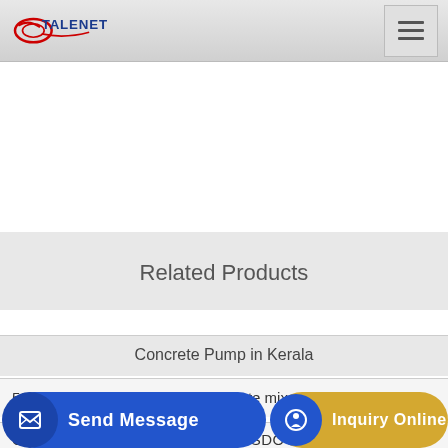TALENET
Related Products
Concrete Pump in Kerala
59-year-old woman killed by concrete mixer while cycling on
COAST CONCRETE PUMP LC USDOT 1667358